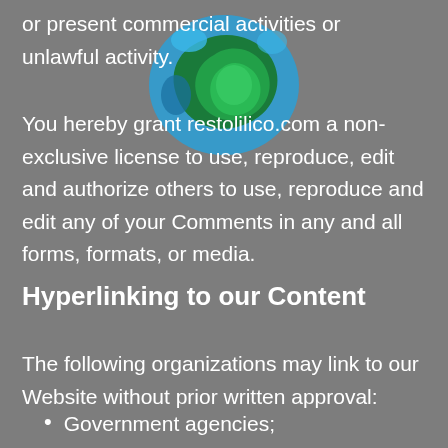or present commercial activities or unlawful activity.
You hereby grant restolilico.com a non-exclusive license to use, reproduce, edit and authorize others to use, reproduce and edit any of your Comments in any and all forms, formats, or media.
Hyperlinking to our Content
The following organizations may link to our Website without prior written approval:
Government agencies;